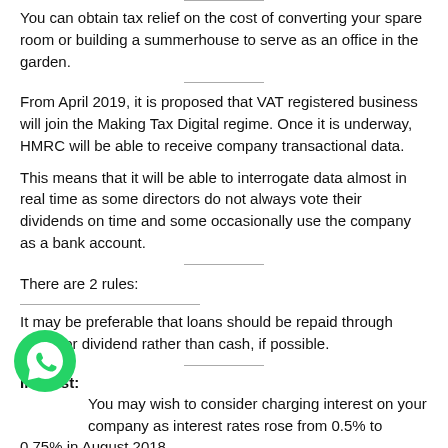You can obtain tax relief on the cost of converting your spare room or building a summerhouse to serve as an office in the garden.
From April 2019, it is proposed that VAT registered business will join the Making Tax Digital regime. Once it is underway, HMRC will be able to receive company transactional data.
This means that it will be able to interrogate data almost in real time as some directors do not always vote their dividends on time and some occasionally use the company as a bank account.
There are 2 rules:
It may be preferable that loans should be repaid through salary or dividend rather than cash, if possible.
Interest:
You may wish to consider charging interest on loans to your company as interest rates rose from 0.5% to 0.75% in August 2018. You may also consider taking advantage of the tax saving allowances: